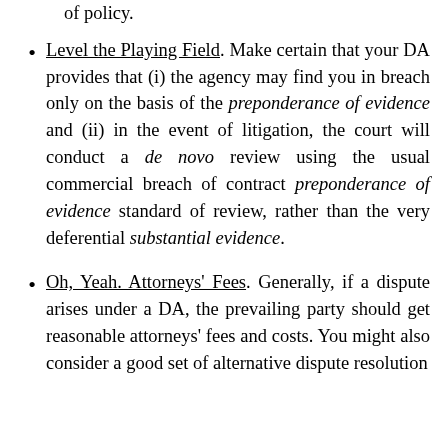Level the Playing Field. Make certain that your DA provides that (i) the agency may find you in breach only on the basis of the preponderance of evidence and (ii) in the event of litigation, the court will conduct a de novo review using the usual commercial breach of contract preponderance of evidence standard of review, rather than the very deferential substantial evidence.
Oh, Yeah. Attorneys' Fees. Generally, if a dispute arises under a DA, the prevailing party should get reasonable attorneys' fees and costs. You might also consider a good set of alternative dispute resolution